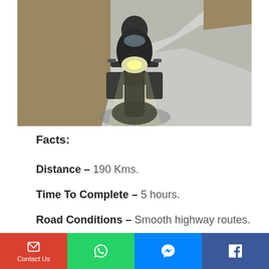[Figure (photo): Motorcycle riding on a narrow winding road with dry grass and trees on the sides, headlight on, rider with luggage, front-facing view.]
Facts:
Distance – 190 Kms.
Time To Complete – 5 hours.
Road Conditions – Smooth highway routes.
Contact Us | WhatsApp | Messenger | Facebook